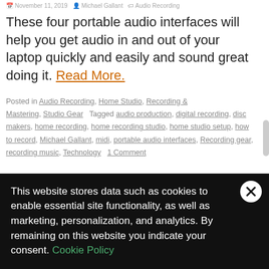November 11, 2019   Michael Gallant   Audio Recording
These four portable audio interfaces will help you get audio in and out of your laptop quickly and easily and sound great doing it. Read More.
Posted in Audio Recording, Home Studio, Recording & Mastering, Studio Gear   Tagged audio production, digital recording, disc makers, home recording, home recording studio, home studio setup, how to record, Michael Gallant, midi, portable audio interfaces, Recording gear, recording music, Technology   1 Comment
This website stores data such as cookies to enable essential site functionality, as well as marketing, personalization, and analytics. By remaining on this website you indicate your consent. Cookie Policy